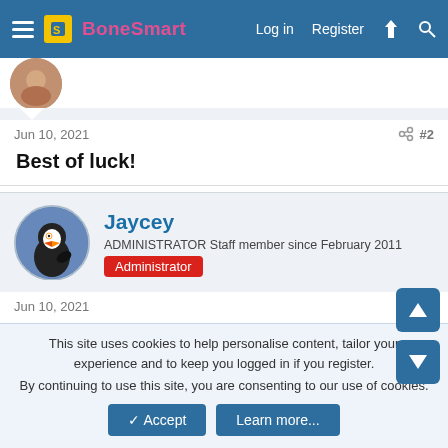BoneSmart — Log in  Register
Jun 10, 2021  #2
Best of luck!
Jaycey — ADMINISTRATOR Staff member since February 2011 — Administrator
Jun 10, 2021  #3
All the best today @Taoquest ! I'll leave your recovery guidelines here for you.
This site uses cookies to help personalise content, tailor your experience and to keep you logged in if you register. By continuing to use this site, you are consenting to our use of cookies.